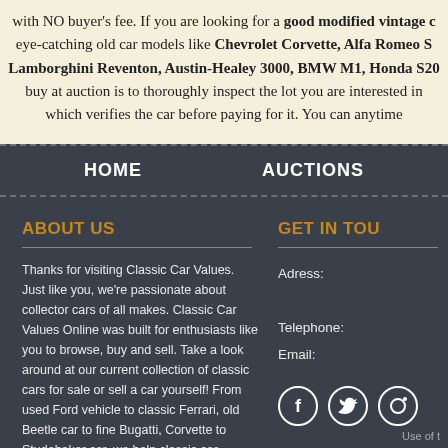with NO buyer's fee. If you are looking for a good modified vintage car eye-catching old car models like Chevrolet Corvette, Alfa Romeo S, Lamborghini Reventon, Austin-Healey 3000, BMW M1, Honda S20, buy at auction is to thoroughly inspect the lot you are interested in which verifies the car before paying for it. You can anytime
HOME    AUCTIONS
ABOUT US
Thanks for visiting Classic Car Values. Just like you, we're passionate about collector cars of all makes. Classic Car Values Online was built for enthusiasts like you to browse, buy and sell. Take a look around at our current collection of classic cars for sale or sell a car yourself! From used Ford vehicle to classic Ferrari, old Beetle car to fine Bugatti, Corvette to Studebaker car, we help classic car enthusiasts buy and sell their dream cars.
GET IN TOU
Adress:

Telephone:
Email:
[Figure (illustration): Social media icons: Facebook, Twitter, and a third icon, displayed as white symbols in dark circular outlines]
Use of t